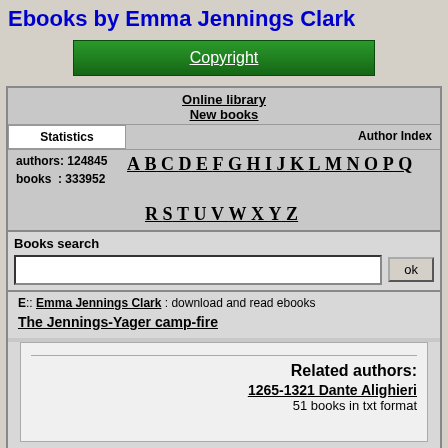Ebooks by Emma Jennings Clark
[Figure (other): Green Copyright button]
Online library
New books
Statistics | Author Index
authors: 124845  A B C D E F G H I J K L M N O P Q
books  : 333952  R S T U V W X Y Z
Books search
E:: Emma Jennings Clark : download and read ebooks
The Jennings-Yager camp-fire
Related authors:
1265-1321 Dante Alighieri
51 books in txt format